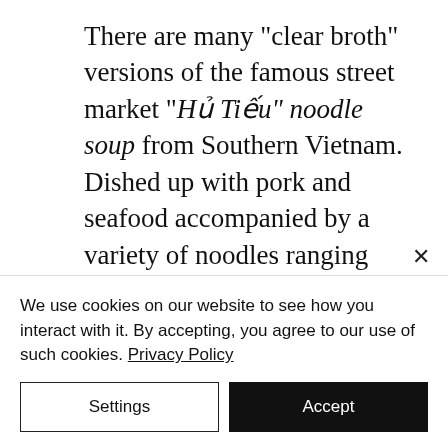There are many "clear broth" versions of the famous street market "Hủ Tiếu" noodle soup from Southern Vietnam. Dished up with pork and seafood accompanied by a variety of noodles ranging from egg to clear tapioca. And then not as commonly know to the world, you have Hủ Tiếu Satế Triều Châu! The name for this noodle soup varies depending on who you talk or pay a visit to. It can [cut off]
We use cookies on our website to see how you interact with it. By accepting, you agree to our use of such cookies. Privacy Policy